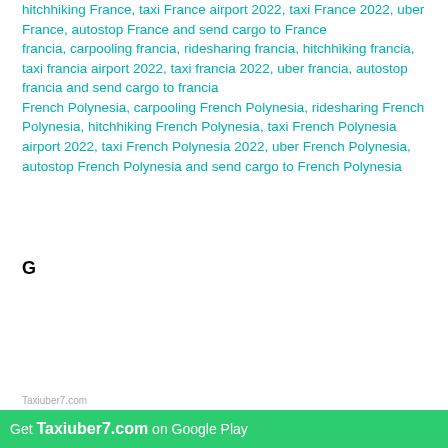hitchhiking France, taxi France airport 2022, taxi France 2022, uber France, autostop France and send cargo to France
francia, carpooling francia, ridesharing francia, hitchhiking francia, taxi francia airport 2022, taxi francia 2022, uber francia, autostop francia and send cargo to francia
French Polynesia, carpooling French Polynesia, ridesharing French Polynesia, hitchhiking French Polynesia, taxi French Polynesia airport 2022, taxi French Polynesia 2022, uber French Polynesia, autostop French Polynesia and send cargo to French Polynesia
G
[Figure (other): Advertisement box with dashed border. Contains a phone icon with question mark on blue rounded square background on the left. Text on the right reads: Find Contacts / Getcontact premium apk / You can find more than / 3.5 Billion phone numbers. A green rounded button with letter T appears to the right of the box.]
Get Taxiuber7.com on Google Play